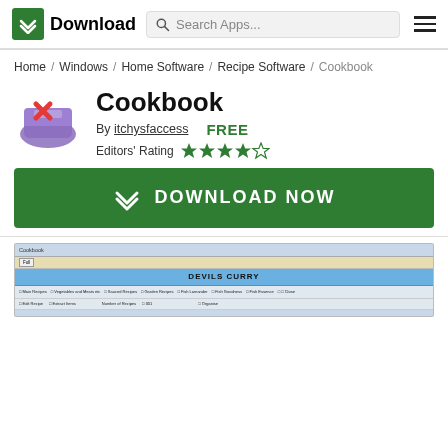Download — Search Apps...
Home / Windows / Home Software / Recipe Software / Cookbook
Cookbook
By itchysfaccess   FREE
Editors' Rating ★★★★☆
DOWNLOAD NOW
[Figure (screenshot): Screenshot of Cookbook application showing DEVILS CURRY recipe page with toolbar and navigation]